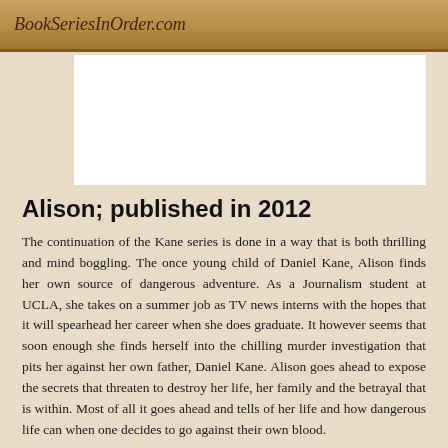BookSeriesInOrder.com
[Figure (other): White rectangular placeholder image area]
Alison; published in 2012
The continuation of the Kane series is done in a way that is both thrilling and mind boggling. The once young child of Daniel Kane, Alison finds her own source of dangerous adventure. As a Journalism student at UCLA, she takes on a summer job as TV news interns with the hopes that it will spearhead her career when she does graduate. It however seems that soon enough she finds herself into the chilling murder investigation that pits her against her own father, Daniel Kane. Alison goes ahead to expose the secrets that threaten to destroy her life, her family and the betrayal that is within. Most of all it goes ahead and tells of her life and how dangerous life can when one decides to go against their own blood.
Alison; published in 2013